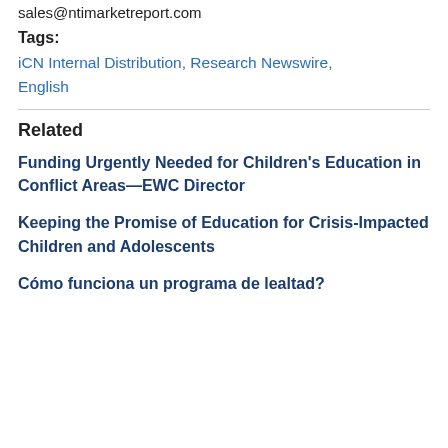sales@ntimarketreport.com
Tags:
iCN Internal Distribution, Research Newswire, English
Related
Funding Urgently Needed for Children's Education in Conflict Areas—EWC Director
Keeping the Promise of Education for Crisis-Impacted Children and Adolescents
Cómo funciona un programa de lealtad?